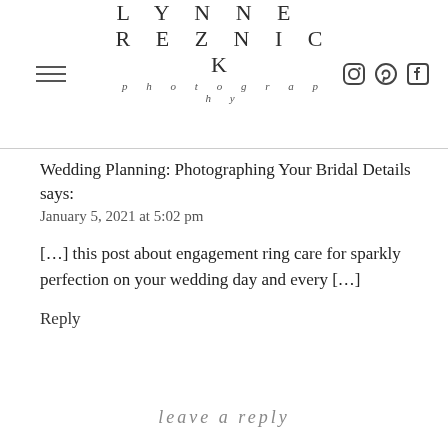LYNNE REZNICK photography
Wedding Planning: Photographing Your Bridal Details
says:
January 5, 2021 at 5:02 pm
[…] this post about engagement ring care for sparkly perfection on your wedding day and every […]
Reply
leave a reply